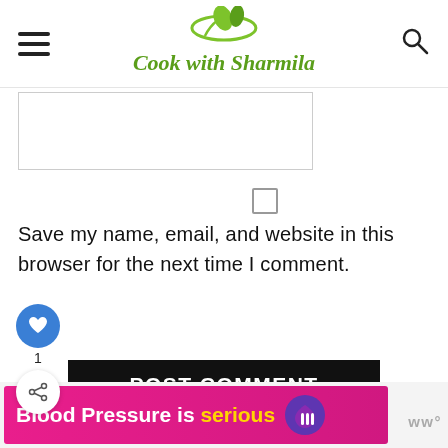Cook with Sharmila
[Figure (screenshot): Partial text input box for website comment form]
[Figure (screenshot): Checkbox (unchecked) for save name/email/website option]
Save my name, email, and website in this browser for the next time I comment.
[Figure (screenshot): POST COMMENT black button]
[Figure (infographic): Blood Pressure is serious ad banner in pink/magenta]
WHAT'S NEXT → Peanut Rice | Verkadalai...